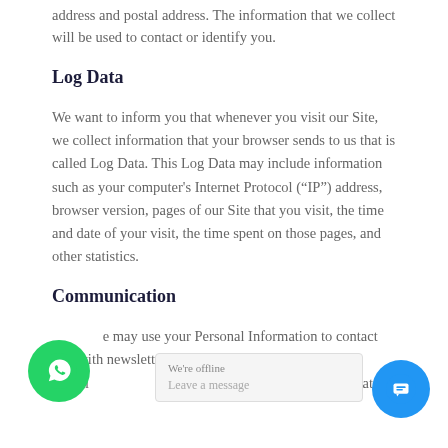address and postal address. The information that we collect will be used to contact or identify you.
Log Data
We want to inform you that whenever you visit our Site, we collect information that your browser sends to us that is called Log Data. This Log Data may include information such as your computer's Internet Protocol (“IP”) address, browser version, pages of our Site that you visit, the time and date of your visit, the time spent on those pages, and other statistics.
Communication
We may use your Personal Information to contact you with newsletters, marketing or promotional materials and other updates.